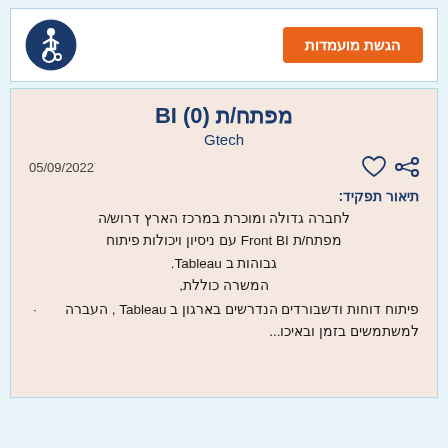[Figure (other): Orange button with Hebrew text 'הגשת מועמדות' and a wheelchair accessibility icon in a dark blue circle]
מפתח/ת BI (0)
Gtech
05/09/2022
תיאור תפקיד:
לחברה גדולה ומוכרת במרכז הארץ דרוש/ה מפתח/ת Front BI עם ניסיון ויכולות פיתוח גבוהות ב Tableau. המשרה כוללת,
פיתוח דוחות ודשבורדים הנדרשים בארגון ב Tableau , העברה למשתמשים בזמן ובאיכו...